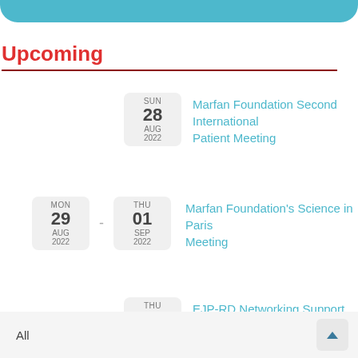Upcoming
SUN 28 AUG 2022 — Marfan Foundation Second International Patient Meeting
MON 29 AUG 2022 - THU 01 SEP 2022 — Marfan Foundation's Science in Paris Meeting
THU 01 SEP 2022 — EJP-RD Networking Support Scheme
All